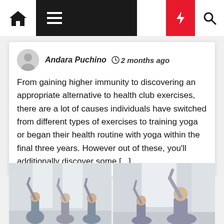Navigation bar with home, menu, moon, bolt, and search icons
Andara Puchino  2 months ago
From gaining higher immunity to discovering an appropriate alternative to health club exercises, there are a lot of causes individuals have switched from different types of exercises to training yoga or began their health routine with yoga within the final three years. However out of these, you'll additionally discover some [...]
[Figure (photo): Two side-by-side photos of a group of people performing yoga poses with arms raised overhead in a studio with large windows]